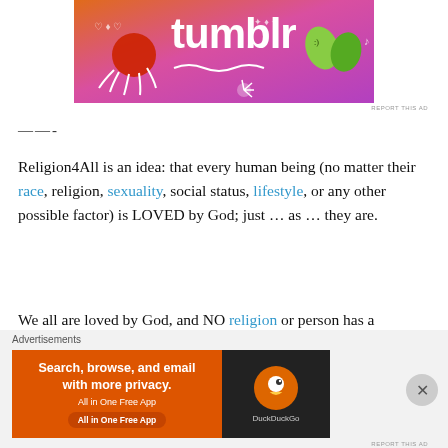[Figure (screenshot): Tumblr advertisement banner with colorful orange-to-pink gradient background, white decorative doodles (sun, leaves, hearts), and bold white 'tumblr' logo text]
REPORT THIS AD
——-
Religion4All is an idea: that every human being (no matter their race, religion, sexuality, social status, lifestyle, or any other possible factor) is LOVED by God; just … as … they are.
We all are loved by God, and NO religion or person has a monopoly on it. Every single person on this planet is loved equally by God … SO many are cut off from God because
Advertisements
[Figure (screenshot): DuckDuckGo advertisement banner: orange left panel with text 'Search, browse, and email with more privacy. All in One Free App', dark right panel with DuckDuckGo logo]